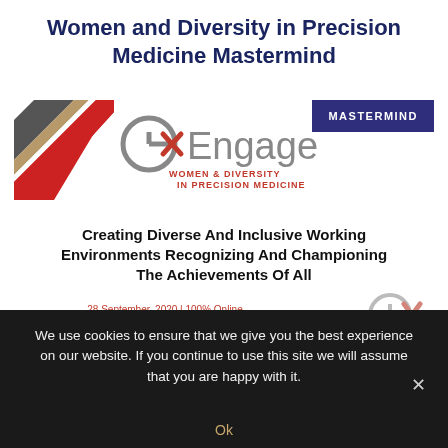Women and Diversity in Precision Medicine Mastermind
[Figure (logo): GxEngage Women & Diversity in Precision Medicine logo with diagonal stripe graphic and MASTERMIND badge]
Creating Diverse And Inclusive Working Environments Recognizing And Championing The Achievements Of All
28 September, 2020 | 100% Online
9.30am-6.30pm EST | 6.30am-3.30pm PST
We use cookies to ensure that we give you the best experience on our website. If you continue to use this site we will assume that you are happy with it.
Ok